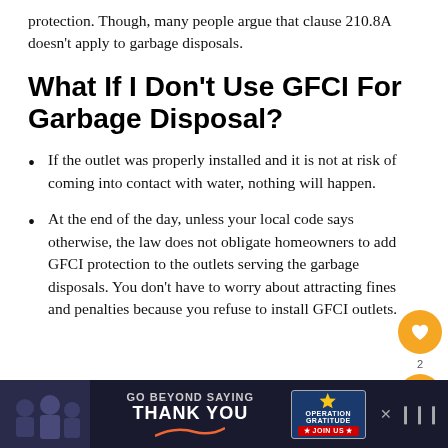protection. Though, many people argue that clause 210.8A doesn't apply to garbage disposals.
What If I Don't Use GFCI For Garbage Disposal?
If the outlet was properly installed and it is not at risk of coming into contact with water, nothing will happen.
At the end of the day, unless your local code says otherwise, the law does not obligate homeowners to add GFCI protection to the outlets serving the garbage disposals. You don't have to worry about attracting fines and penalties because you refuse to install GFCI outlets.
[Figure (infographic): Advertisement banner: 'GO BEYOND SAYING THANK YOU' with Operation Gratitude logo and JOIN US button, dark background with people in military/first responder uniforms]